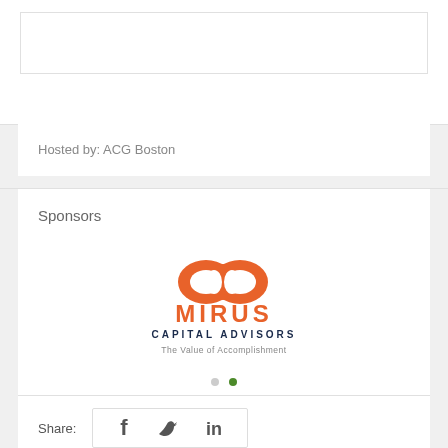Hosted by: ACG Boston
Sponsors
[Figure (logo): Mirus Capital Advisors logo with orange interlocking circles above the text MIRUS CAPITAL ADVISORS and tagline The Value of Accomplishment]
Share: